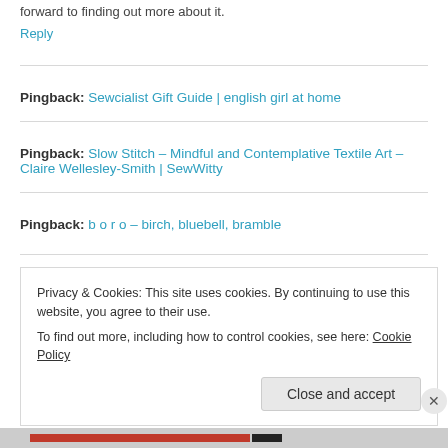forward to finding out more about it.
Reply
Pingback: Sewcialist Gift Guide | english girl at home
Pingback: Slow Stitch – Mindful and Contemplative Textile Art – Claire Wellesley-Smith | SewWitty
Pingback: b o r o – birch, bluebell, bramble
Privacy & Cookies: This site uses cookies. By continuing to use this website, you agree to their use.
To find out more, including how to control cookies, see here: Cookie Policy
Close and accept